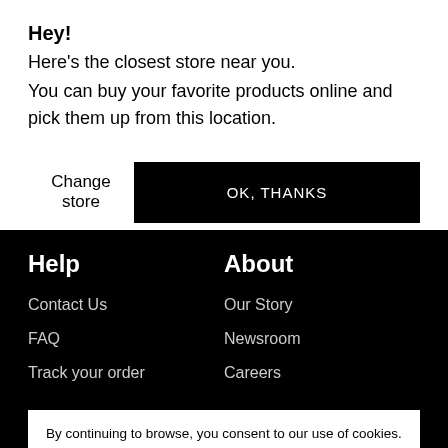Hey!
Here's the closest store near you.
You can buy your favorite products online and pick them up from this location.
Change store
OK, THANKS
Help
About
Contact Us
Our Story
FAQ
Newsroom
Track your order
Careers
By continuing to browse, you consent to our use of cookies. Read more about our Privacy and Cookies Policy.
LET'S SHOP